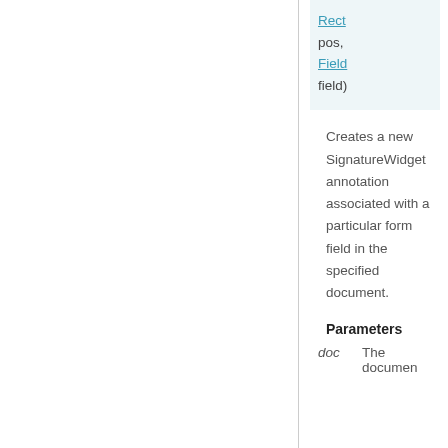| Rect
pos,
Field
field) |
Creates a new SignatureWidget annotation associated with a particular form field in the specified document.
Parameters
doc   The document